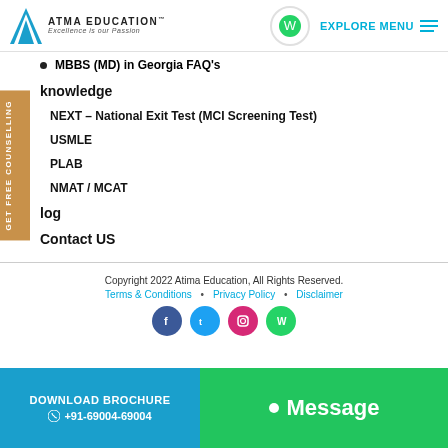ATMA EDUCATION | EXPLORE MENU
MBBS (MD) in Georgia FAQ's
knowledge
NEXT – National Exit Test (MCI Screening Test)
USMLE
PLAB
NMAT / MCAT
log
Contact US
Copyright 2022 Atima Education, All Rights Reserved. Terms & Conditions • Privacy Policy • Disclaimer
DOWNLOAD BROCHURE | +91-69004-69004 | Message